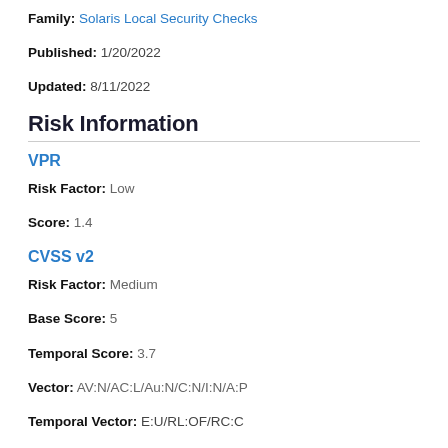Family: Solaris Local Security Checks
Published: 1/20/2022
Updated: 8/11/2022
Risk Information
VPR
Risk Factor: Low
Score: 1.4
CVSS v2
Risk Factor: Medium
Base Score: 5
Temporal Score: 3.7
Vector: AV:N/AC:L/Au:N/C:N/I:N/A:P
Temporal Vector: E:U/RL:OF/RC:C